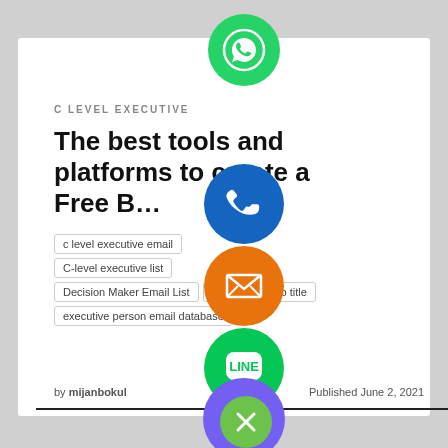C LEVEL EXECUTIVE
The best tools and platforms to create a Free B…
c level executive email
C-level executive list
Decision Maker Email List   email list by job title
executive person email database
by mijanbokul   Published June 2, 2021
[Figure (infographic): Stack of social media sharing icons: WhatsApp (green), phone/call (blue), email (orange), LINE (green), Viber (purple), close/X button (green)]